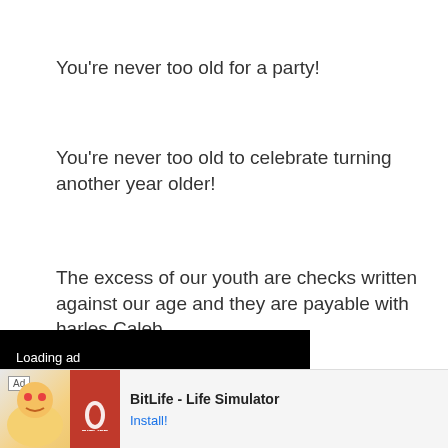You're never too old for a party!
You're never too old to celebrate turning another year older!
The excess of our youth are checks written against our age and they are payable with interest — Charles Caleb
n't define who
[Figure (screenshot): Video ad overlay with black background showing 'Loading ad' text, a loading spinner, and media controls (pause, expand, mute) at the bottom left]
[Figure (screenshot): Bottom banner ad for BitLife - Life Simulator app with Ad label, cartoon character image, red BitLife logo box, app name, and Install button]